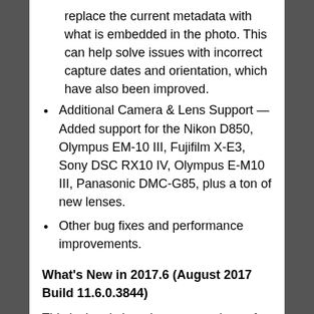replace the current metadata with what is embedded in the photo. This can help solve issues with incorrect capture dates and orientation, which have also been improved.
Additional Camera & Lens Support — Added support for the Nikon D850, Olympus EM-10 III, Fujifilm X-E3, Sony DSC RX10 IV, Olympus E-M10 III, Panasonic DMC-G85, plus a ton of new lenses.
Other bug fixes and performance improvements.
What's New in 2017.6 (August 2017 Build 11.6.0.3844)
This is the sixth maintenance release for ON1 Photo RAW 2017. It focuses on improving performance in Browse, but we snuck in a few other treats as well. It is recommended for all users. Here are some of the biggest improvements and fixes: